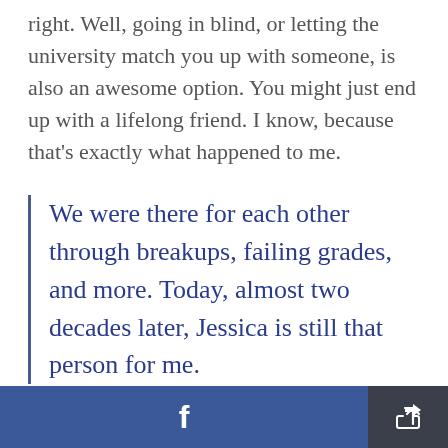right. Well, going in blind, or letting the university match you up with someone, is also an awesome option. You might just end up with a lifelong friend. I know, because that's exactly what happened to me.
We were there for each other through breakups, failing grades, and more. Today, almost two decades later, Jessica is still that person for me.
[Figure (screenshot): Facebook share button bar at the bottom of a mobile article page, with a blue Facebook button on the left and a dark share/forward button on the right.]